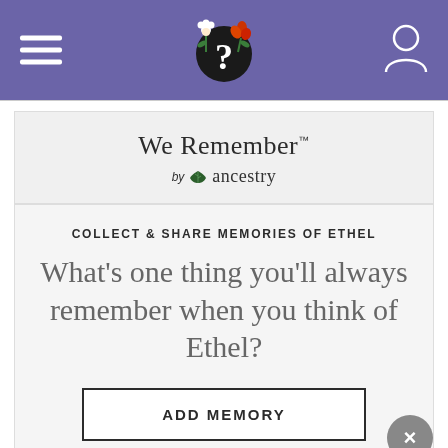[Figure (screenshot): We Remember by Ancestry app screenshot with navigation bar, logo, and memory prompt for Ethel]
We Remember™ by Ancestry
COLLECT & SHARE MEMORIES OF ETHEL
What's one thing you'll always remember when you think of Ethel?
ADD MEMORY